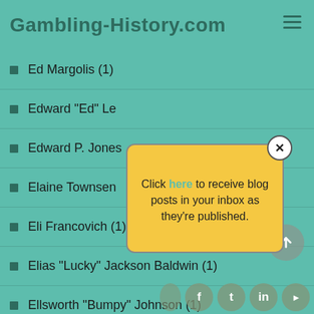Gambling-History.com
Ed Margolis (1)
Edward "Ed" Le…
Edward P. Jones…
Elaine Townsen…
Eli Francovich (1)
Elias "Lucky" Jackson Baldwin (1)
Ellsworth "Bumpy" Johnson (1)
Elmer West (1)
[Figure (other): Popup notification box with close button (X). Text reads: Click here to receive blog posts in your inbox as they're published. 'here' is shown as a teal hyperlink.]
[Figure (other): Scroll-to-top button: circular grey button with upward arrow.]
[Figure (other): Social media share bar with icons for Facebook, Twitter, LinkedIn, and RSS feed.]